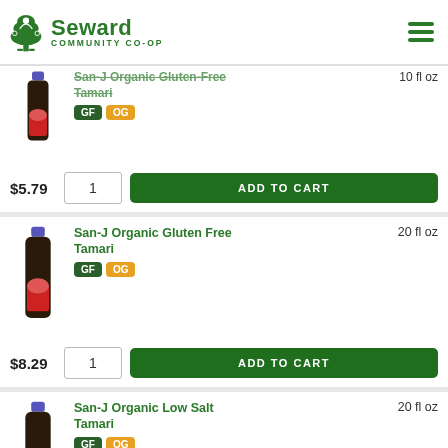Seward Community Co-op
San-J Organic Gluten Free Tamari — 10 fl oz — GF OG — $5.79 — ADD TO CART
San-J Organic Gluten Free Tamari — 20 fl oz — GF OG — $8.29 — ADD TO CART
San-J Organic Low Salt Tamari — 20 fl oz — GF OG — $9.29 — ADD TO CART